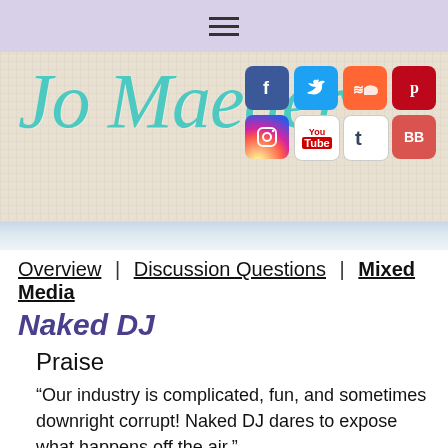[Figure (screenshot): Website header with hamburger menu, Jo Maeder logo in teal cursive script, textured beige background, and social media icons (Facebook, Twitter, SoundCloud, Pinterest, Instagram, YouTube, Tumblr, BookBub)]
Overview | Discussion Questions | Mixed Media
Naked DJ
Praise
“Our industry is complicated, fun, and sometimes downright corrupt! Naked DJ dares to expose what happens off the air.”
—Delilah, syndicated nighttime radio host
“The deliciously scandalous story rips along at